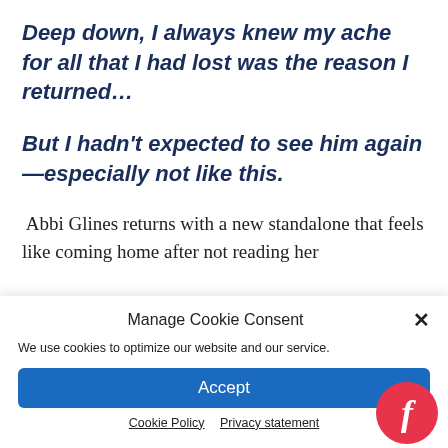Deep down, I always knew my ache for all that I had lost was the reason I returned…
But I hadn't expected to see him again—especially not like this.
Abbi Glines returns with a new standalone that feels like coming home after not reading her
Manage Cookie Consent
We use cookies to optimize our website and our service.
Accept
Cookie Policy   Privacy statement